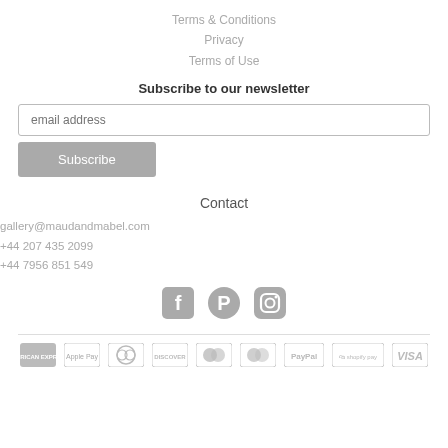Terms & Conditions
Privacy
Terms of Use
Subscribe to our newsletter
email address
Subscribe
Contact
gallery@maudandmabel.com
+44 207 435 2099
+44 7956 851 549
[Figure (infographic): Social media icons: Facebook, Pinterest, Instagram]
[Figure (infographic): Payment method logos: American Express, Apple Pay, Diners Club, Discover, Mastercard, Maestro, PayPal, Shopify Pay, Visa]